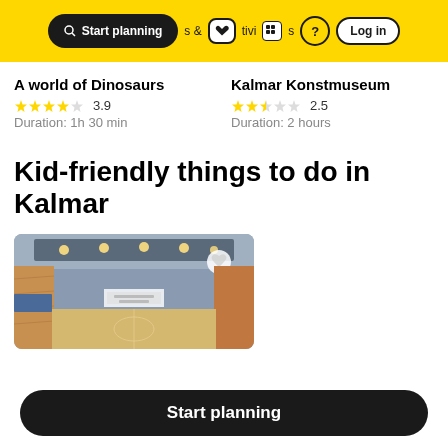Start planning  &  Activities  ?  Log in
A world of Dinosaurs
★★★★☆ 3.9
Duration: 1h 30 min
Kalmar Konstmuseum
★★½☆☆ 2.5
Duration: 2 hours
Kid-friendly things to do in Kalmar
[Figure (photo): Interior photo of a sports arena/gymnasium with wooden walls, stadium seating, lighting rigs, and a basketball court visible.]
Start planning